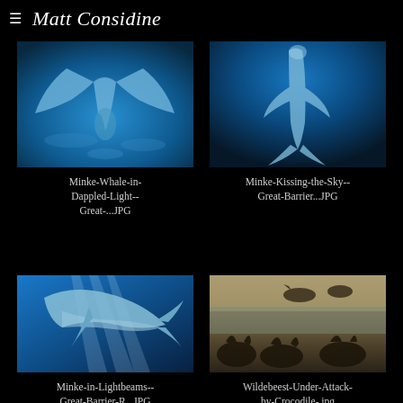≡ Matt Considine
[Figure (photo): Underwater photo of minke whale tail/fluke in dappled blue light, viewed from below]
Minke-Whale-in-Dappled-Light--Great-...JPG
[Figure (photo): Underwater photo of minke whale swimming upward toward surface, blue water, Great Barrier Reef]
Minke-Kissing-the-Sky--Great-Barrier...JPG
[Figure (photo): Underwater photo of minke whale swimming in lightbeams, blue water, Great Barrier Reef]
Minke-in-Lightbeams--Great-Barrier-R...JPG
[Figure (photo): Wildlife photo of wildebeest under attack by crocodile at river crossing]
Wildebeest-Under-Attack-by-Crocodile-.jpg